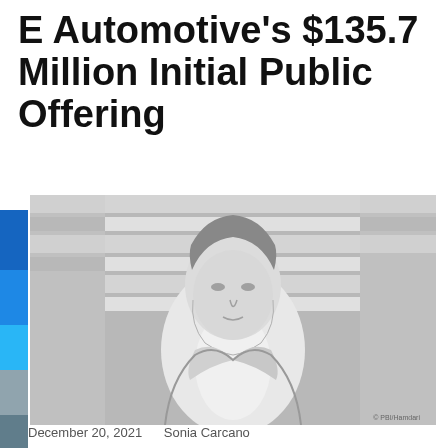E Automotive's $135.7 Million Initial Public Offering
[Figure (photo): Black and white sketch-style portrait of a middle-aged man in a suit jacket and open-collar shirt, standing in front of a building with horizontal architectural elements. Photo credit: © PBI/Hamdari]
December 20, 2021    Sonia Carcano